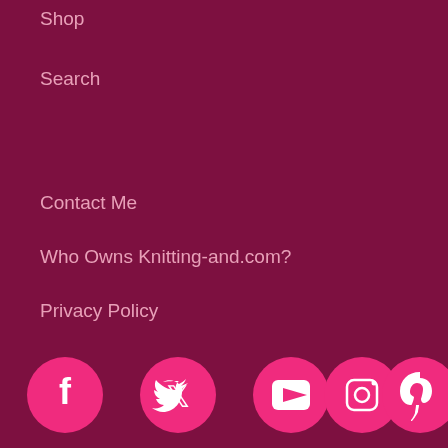Shop
Search
Contact Me
Who Owns Knitting-and.com?
Privacy Policy
[Figure (infographic): Row of 5 social media icons (Facebook, Twitter, YouTube, Instagram, Pinterest) as white icons on hot-pink circles]